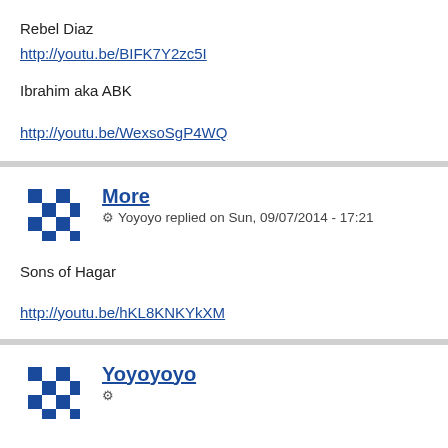Rebel Diaz
http://youtu.be/BIFK7Y2zc5I
Ibrahim aka ABK
http://youtu.be/WexsoSgP4WQ
More
Yoyoyo replied on Sun, 09/07/2014 - 17:21
Sons of Hagar
http://youtu.be/hKL8KNKYkXM
Yoyoyoyo